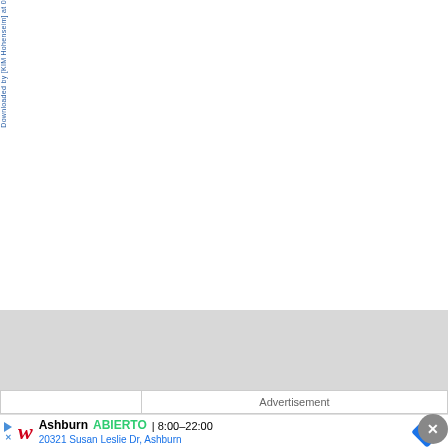Downloaded by [KIM Hohenseim] at 0
[Figure (other): Blank white page area — main content area of a document page, currently empty/blank]
[Figure (other): Gray rectangle band — likely a placeholder for an image or chart that did not load]
Advertisement
[Figure (other): Walgreens advertisement: Ashburn ABIERTO | 8:00–22:00, 20321 Susan Leslie Dr, Ashburn, with Walgreens logo and navigation arrow icon]